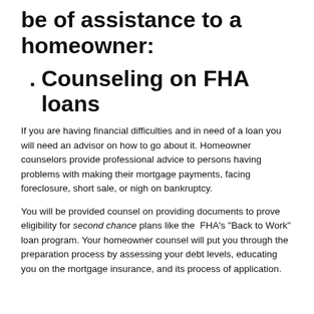be of assistance to a homeowner:
Counseling on FHA loans
If you are having financial difficulties and in need of a loan you will need an advisor on how to go about it. Homeowner counselors provide professional advice to persons having problems with making their mortgage payments, facing foreclosure, short sale, or nigh on bankruptcy.
You will be provided counsel on providing documents to prove eligibility for second chance plans like the FHA's "Back to Work" loan program. Your homeowner counsel will put you through the preparation process by assessing your debt levels, educating you on the mortgage insurance, and its process of application.